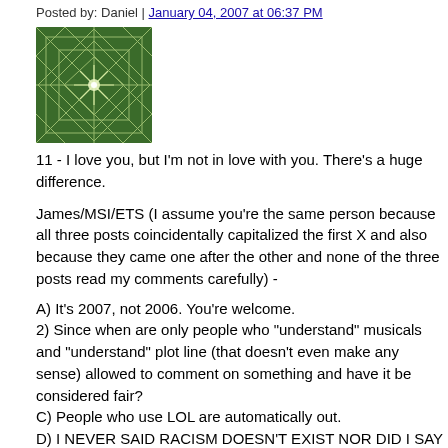Posted by: Daniel | January 04, 2007 at 06:37 PM
[Figure (illustration): Green geometric avatar icon with a diamond/star pattern on dark green background]
11 - I love you, but I'm not in love with you. There's a huge difference.

James/MSI/ETS (I assume you're the same person because all three posts coincidentally capitalized the first X and also because they came one after the other and none of the three posts read my comments carefully) -

A) It's 2007, not 2006. You're welcome.
2) Since when are only people who "understand" musicals and "understand" plot line (that doesn't even make any sense) allowed to comment on something and have it be considered fair?
C) People who use LOL are automatically out.
D) I NEVER SAID RACISM DOESN'T EXIST NOR DID I SAY THAT RACE DISCUSSIONS ARE INVALID. If you actually read what I follow-up posted w/ I explained that the discussion of racism today has shifted away from the early '90s-Ricki-Lake era rhetoric that a lot of people were posting against Rich th you would understand how dumb you are. Besides, after 9-11 Arabs were the new Blacks, and after May 1, 2006 Latinos became the new Arabs. If you still approach racism as a Black issue you're, as you say, still missing the point.
5) I never claimed to be an expert in "blackness" (and just how does hanging around white people achieve that anyway?), nor did I once mention anything